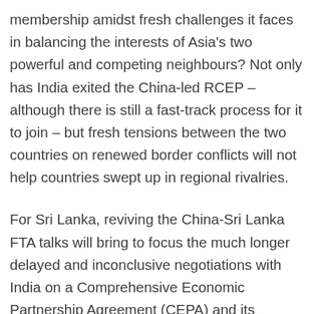membership amidst fresh challenges it faces in balancing the interests of Asia's two powerful and competing neighbours? Not only has India exited the China-led RCEP – although there is still a fast-track process for it to join – but fresh tensions between the two countries on renewed border conflicts will not help countries swept up in regional rivalries.
For Sri Lanka, reviving the China-Sri Lanka FTA talks will bring to focus the much longer delayed and inconclusive negotiations with India on a Comprehensive Economic Partnership Agreement (CEPA) and its successor, the Economic Cooperation and Technology Agreement (ECTA). The stalled ECTA negotiations – intended to expand an existing bilateral FTA in goods, to services and